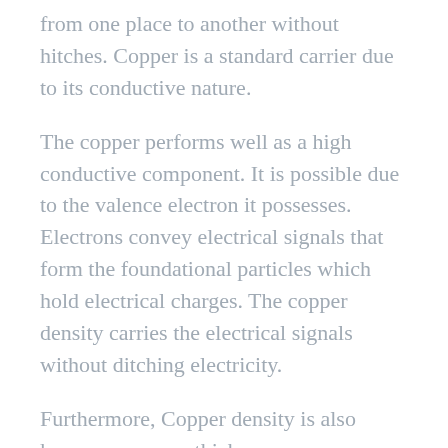from one place to another without hitches. Copper is a standard carrier due to its conductive nature.
The copper performs well as a high conductive component. It is possible due to the valence electron it possesses. Electrons convey electrical signals that form the foundational particles which hold electrical charges. The copper density carries the electrical signals without ditching electricity.
Furthermore, Copper density is also known as copper thickness or copper weight. It is in the sq ft. area of the circuit board. The Coppers' measurement is in ounces (oz/ft₂). Its thickness determines the current-carrying